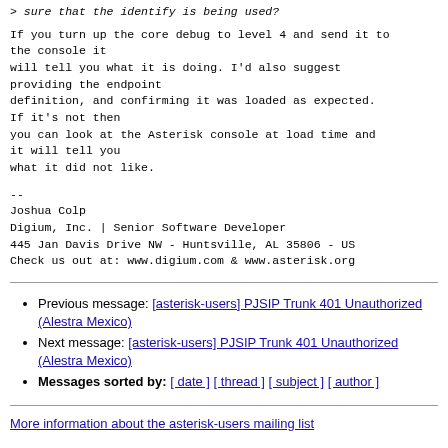> sure that the identify is being used?
If you turn up the core debug to level 4 and send it to the console it
will tell you what it is doing. I'd also suggest providing the endpoint
definition, and confirming it was loaded as expected. If it's not then
you can look at the Asterisk console at load time and it will tell you
what it did not like.
--
Joshua Colp
Digium, Inc. | Senior Software Developer
445 Jan Davis Drive NW - Huntsville, AL 35806 - US
Check us out at: www.digium.com & www.asterisk.org
Previous message: [asterisk-users] PJSIP Trunk 401 Unauthorized (Alestra Mexico)
Next message: [asterisk-users] PJSIP Trunk 401 Unauthorized (Alestra Mexico)
Messages sorted by: [ date ] [ thread ] [ subject ] [ author ]
More information about the asterisk-users mailing list